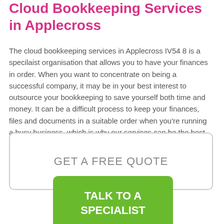Cloud Bookkeeping Services in Applecross
The cloud bookkeeping services in Applecross IV54 8 is a specilaist organisation that allows you to have your finances in order. When you want to concentrate on being a successful company, it may be in your best interest to outsource your bookkeeping to save yourself both time and money. It can be a difficult process to keep your finances, files and documents in a suitable order when you're running a busy business, which is why our services can be the best option for you.
[Figure (other): Button reading GET A FREE QUOTE inside a rounded rectangle border]
[Figure (other): Green button reading TALK TO A SPECIALIST]